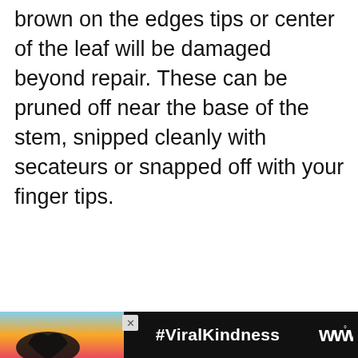brown on the edges tips or center of the leaf will be damaged beyond repair. These can be pruned off near the base of the stem, snipped cleanly with secateurs or snapped off with your finger tips.
[Figure (screenshot): UI overlay with heart/like button showing count of 1, share button, a 'What's Next' widget showing Cordyline Leaves thumbnail with label, partially visible gray element, and an advertisement banner at the bottom showing hands making a heart shape with '#ViralKindness' text and a weather channel logo.]